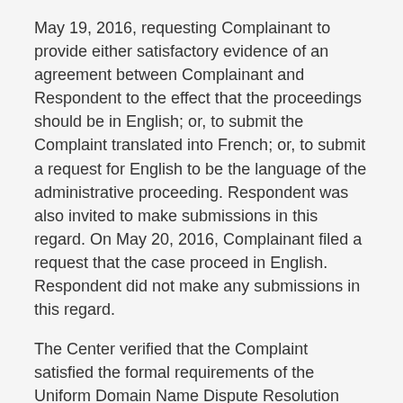May 19, 2016, requesting Complainant to provide either satisfactory evidence of an agreement between Complainant and Respondent to the effect that the proceedings should be in English; or, to submit the Complaint translated into French; or, to submit a request for English to be the language of the administrative proceeding. Respondent was also invited to make submissions in this regard. On May 20, 2016, Complainant filed a request that the case proceed in English. Respondent did not make any submissions in this regard.
The Center verified that the Complaint satisfied the formal requirements of the Uniform Domain Name Dispute Resolution Policy (the "Policy" or "UDRP"), the Rules for Uniform Domain Name Dispute Resolution Policy (the "Rules"), and the WIPO Supplemental Rules for Uniform Domain Name Dispute Resolution Policy (the "Supplemental Rules").
In accordance with the Rules, paragraphs 2 and 4, the Center formally notified Respondent of the Complaint in